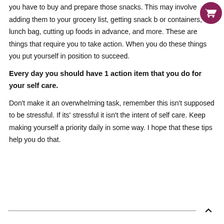you have to buy and prepare those snacks. This may involve adding them to your grocery list, getting snack b or containers, a lunch bag, cutting up foods in advance, and more. These are things that require you to take action. When you do these things you put yourself in position to succeed.
Every day you should have 1 action item that you do for your self care.
Don't make it an overwhelming task, remember this isn't supposed to be stressful. If its' stressful it isn't the intent of self care. Keep making yourself a priority daily in some way. I hope that these tips help you do that.